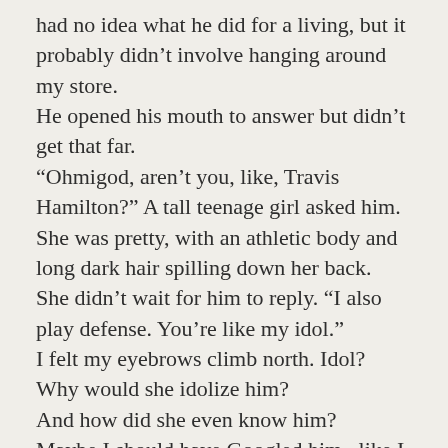had no idea what he did for a living, but it probably didn’t involve hanging around my store.
He opened his mouth to answer but didn’t get that far.
“Ohmigod, aren’t you, like, Travis Hamilton?” A tall teenage girl asked him. She was pretty, with an athletic body and long dark hair spilling down her back.
She didn’t wait for him to reply. “I also play defense. You’re like my idol.”
I felt my eyebrows climb north. Idol? Why would she idolize him?
And how did she even know him?
Maybe I should have Googled him...like I had with some of my past dates.
Not that I was going out with him.